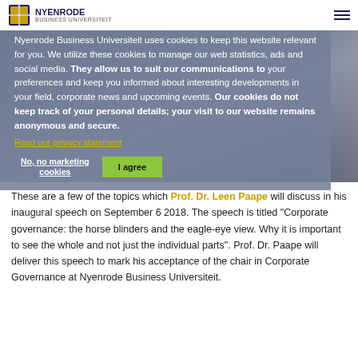NYENRODE Business Universiteit
[Figure (photo): Background photo of a person at a podium or speaking event, partially visible on the right side]
Nyenrode Business Universiteit uses cookies to keep this website relevant for you. We utilize these cookies to manage our web statistics, ads and social media. They allow us to suit our communications to your preferences and keep you informed about interesting developments in your field, corporate news and upcoming events. Our cookies do not keep track of your personal details; your visit to our website remains anonymous and secure.
Read our privacy statement
No, no marketing cookies | I agree
These are a few of the topics which Prof. Dr. Leen Paape will discuss in his inaugural speech on September 6 2018. The speech is titled "Corporate governance: the horse blinders and the eagle-eye view. Why it is important to see the whole and not just the individual parts". Prof. Dr. Paape will deliver this speech to mark his acceptance of the chair in Corporate Governance at Nyenrode Business Universiteit.